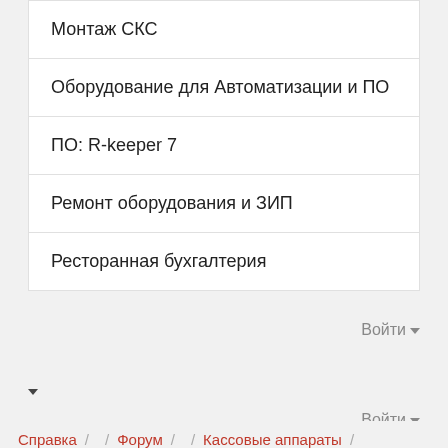Монтаж СКС
Оборудование для Автоматизации и ПО
ПО: R-keeper 7
Ремонт оборудования и ЗИП
Ресторанная бухгалтерия
Войти ▾
▾
Войти ▾
Справка / / Форум / / Кассовые аппараты /